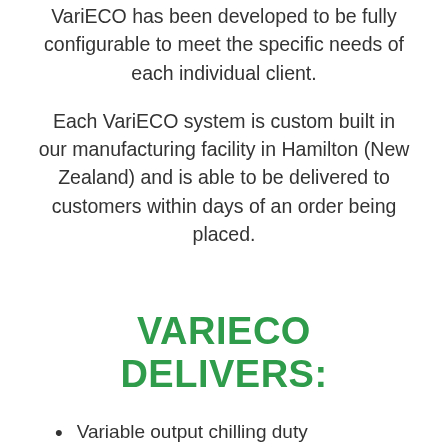VariECO has been developed to be fully configurable to meet the specific needs of each individual client.
Each VariECO system is custom built in our manufacturing facility in Hamilton (New Zealand) and is able to be delivered to customers within days of an order being placed.
VARIECO DELIVERS:
Variable output chilling duty
Luvata R410a and R454B High Pressure